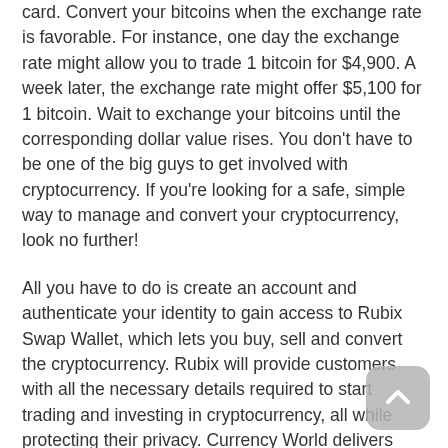card. Convert your bitcoins when the exchange rate is favorable. For instance, one day the exchange rate might allow you to trade 1 bitcoin for $4,900. A week later, the exchange rate might offer $5,100 for 1 bitcoin. Wait to exchange your bitcoins until the corresponding dollar value rises. You don't have to be one of the big guys to get involved with cryptocurrency. If you're looking for a safe, simple way to manage and convert your cryptocurrency, look no further!
All you have to do is create an account and authenticate your identity to gain access to Rubix Swap Wallet, which lets you buy, sell and convert the cryptocurrency. Rubix will provide customers with all the necessary details required to start trading and investing in cryptocurrency, all while protecting their privacy. Currency World delivers instant currency conversion and fresh exchange rates in a user-friendly interface. Rubix is a high-quality, secure platform that lets you easily trade BTC to USD. After you